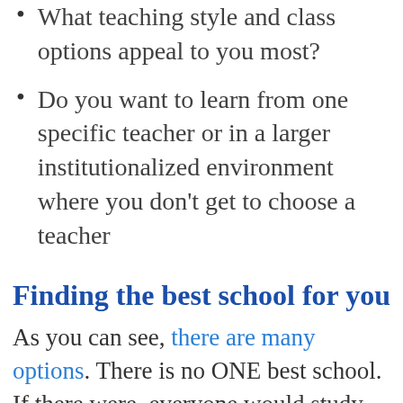What teaching style and class options appeal to you most?
Do you want to learn from one specific teacher or in a larger institutionalized environment where you don't get to choose a teacher
Finding the best school for you
As you can see, there are many options. There is no ONE best school. If there were, everyone would study Thai Massage there and all other schools would go out of business.
However there might be ONE best school for